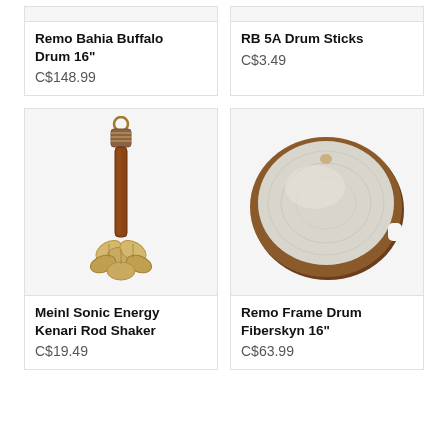Remo Bahia Buffalo Drum 16"
C$148.99
RB 5A Drum Sticks
C$3.49
[Figure (photo): Meinl Sonic Energy Kenari Rod Shaker - a wooden stick shaker with shell/nut cluster at bottom]
Meinl Sonic Energy Kenari Rod Shaker
C$19.49
[Figure (photo): Remo Frame Drum Fiberskyn 16" - circular frame drum with fiberskyn head, wood frame]
Remo Frame Drum Fiberskyn 16"
C$63.99